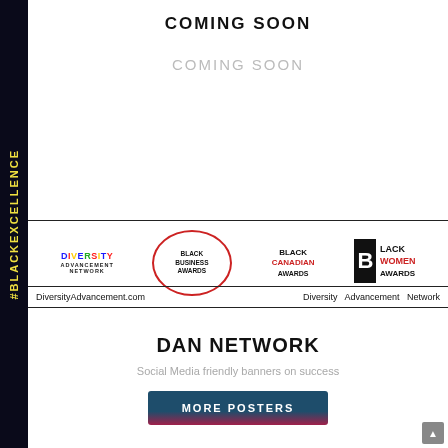COMING SOON
COMING SOON
[Figure (logo): Four logos: Diversity Advancement Network, Black Business Awards (oval), Black Canadian Awards, Black Women Awards]
DiversityAdvancement.com    Diversity Advancement Network
DAN NETWORK
Social Media friendly banners on success
MORE POSTERS